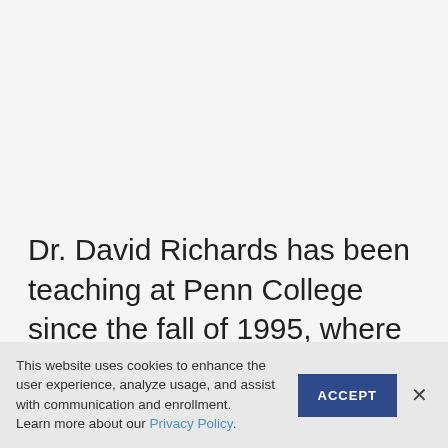Dr. David Richards has been teaching at Penn College since the fall of 1995, where he is currently a full Professor and Department Head of the Natural Sciences department.
This website uses cookies to enhance the user experience, analyze usage, and assist with communication and enrollment.
Learn more about our Privacy Policy.